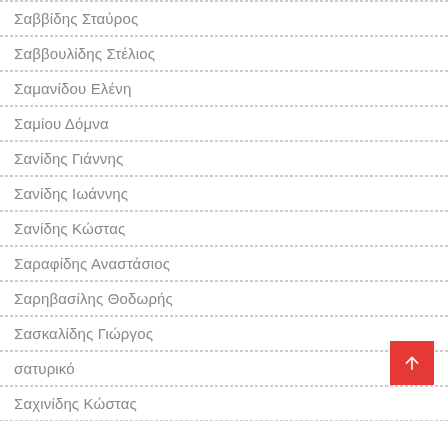Σαββίδης Σταύρος
Σαββουλίδης Στέλιος
Σαμανίδου Ελένη
Σαμίου Δόμνα
Σανίδης Γιάννης
Σανίδης Ιωάννης
Σανίδης Κώστας
Σαραφίδης Αναστάσιος
Σαρηβασίλης Θοδωρής
Σασκαλίδης Γιώργος
σατυρικό
Σαχινίδης Κώστας